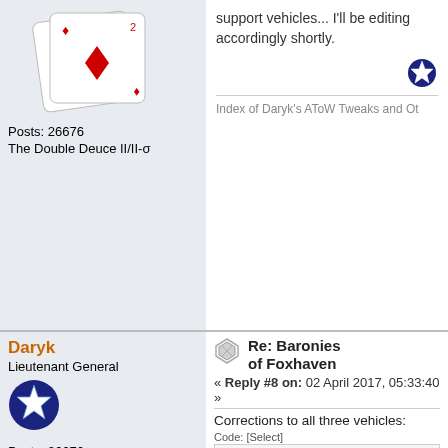support vehicles... I'll be editing accordingly shortly.
Index of Daryk's AToW Tweaks and Ot
Posts: 26676
The Double Deuce II/II-σ
Daryk
Lieutenant General
Re: Baronies of Foxhaven
« Reply #8 on: 02 April 2017, 05:33:40 »
Corrections to all three vehicles:
Code: [Select]
Step Van
3,750 kg Total
     777 kg Chassis (Wheeled, Off-R
     544 kg Engine (ICE, 5/8)
     225 kg Crew Seats (3 Crew: Dri
   1,000 kg Infantry Compartment (o
     320 kg Armor (8 points of TL C
     500 kg Roof Rack RL-10 (forwar
      25 kg Basic Fire Control for
      12 kg Portable Machine Gun (f
       1 kg Basic Fire Control for
Posts: 26676
The Double Deuce II/II-σ